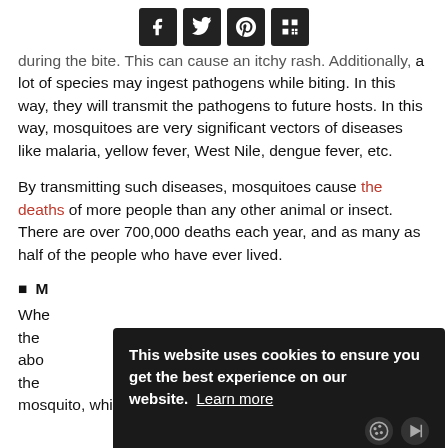[Social share icons: Facebook, Twitter, Pinterest, Mix]
during the bite. This can cause an itchy rash. Additionally, a lot of species may ingest pathogens while biting. In this way, they will transmit the pathogens to future hosts. In this way, mosquitoes are very significant vectors of diseases like malaria, yellow fever, West Nile, dengue fever, etc.
By transmitting such diseases, mosquitoes cause the deaths of more people than any other animal or insect. There are over 700,000 deaths each year, and as many as half of the people who have ever lived.
M
Whe the abo the mosquito, which is a parasite that spreads disease as it
This website uses cookies to ensure you get the best experience on our website. Learn more
[Figure (screenshot): Cookie consent overlay and advertisement overlay on webpage]